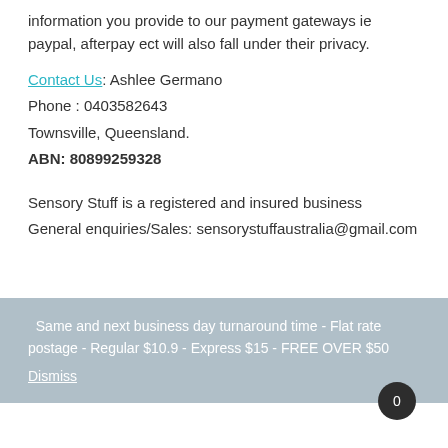information you provide to our payment gateways ie paypal, afterpay ect will also fall under their privacy.
Contact Us: Ashlee Germano
Phone : 0403582643
Townsville, Queensland.
ABN: 80899259328
Sensory Stuff is a registered and insured business
General enquiries/Sales: sensorystuffaustralia@gmail.com
Same and next business day turnaround time - Flat rate postage - Regular $10.9 - Express $15 - FREE OVER $50
Dismiss